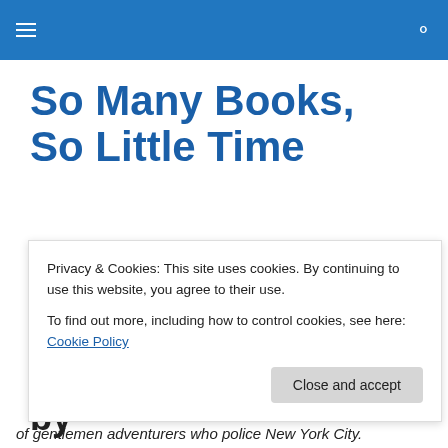So Many Books, So Little Time — navigation header bar
So Many Books, So Little Time
Book reviews and recommendations
MONTHLY ARCHIVES: MARCH 2011
The Falling Machine by
Privacy & Cookies: This site uses cookies. By continuing to use this website, you agree to their use.
To find out more, including how to control cookies, see here: Cookie Policy
of gentlemen adventurers who police New York City.